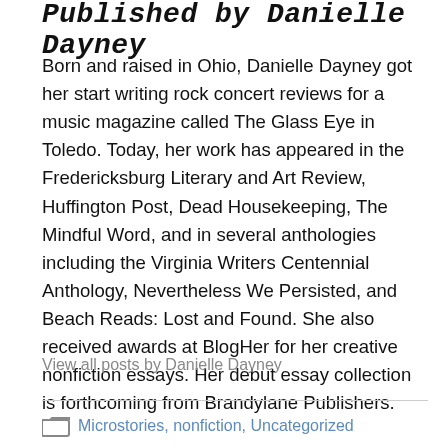Published by Danielle Dayney
Born and raised in Ohio, Danielle Dayney got her start writing rock concert reviews for a music magazine called The Glass Eye in Toledo. Today, her work has appeared in the Fredericksburg Literary and Art Review, Huffington Post, Dead Housekeeping, The Mindful Word, and in several anthologies including the Virginia Writers Centennial Anthology, Nevertheless We Persisted, and Beach Reads: Lost and Found. She also received awards at BlogHer for her creative nonfiction essays. Her debut essay collection is forthcoming from Brandylane Publishers.
View all posts by Danielle Dayney
Microstories, nonfiction, Uncategorized
amwriting, beach, blog, family, life, mom, ocean